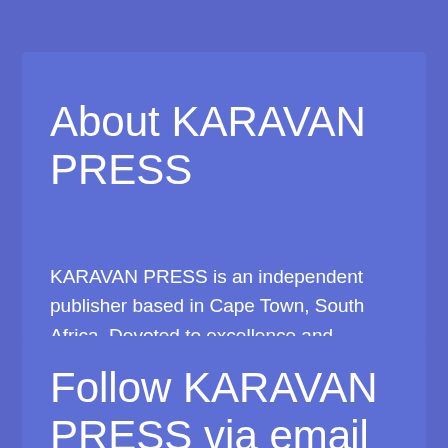About KARAVAN PRESS
KARAVAN PRESS is an independent publisher based in Cape Town, South Africa. Devoted to excellence and integrity, we publish books we are passionate about.
Follow KARAVAN PRESS via email